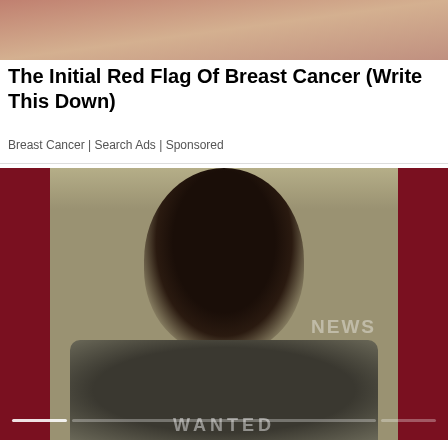[Figure (photo): Top portion of an advertisement image, cropped, showing skin/body close-up in warm tones]
The Initial Red Flag Of Breast Cancer (Write This Down)
Breast Cancer | Search Ads | Sponsored
[Figure (photo): News photo of a man facing the camera with a serious expression, wearing a grey shirt. Dark red bars flank the sides. A '9NEWS' watermark is partially visible. The word 'WANTED' is partially visible at the bottom of the image. A slider/progress bar is at the bottom of the image.]
Belize City man charged with stealing $3,600 from a morticianBelize City man charged with